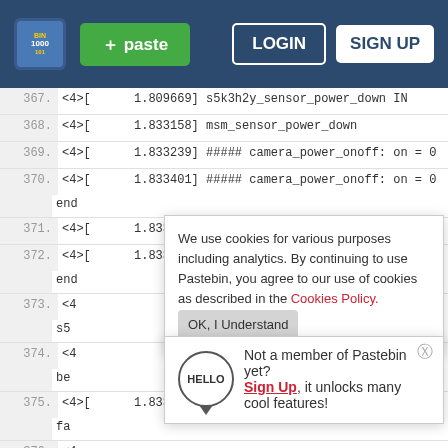Pastebin header with logo, + paste button, LOGIN button, SIGN UP button
367.  <4>[      1.809669] s5k3h2y_sensor_power_down IN
368.  <4>[      1.833158] msm_sensor_power_down
369.  <4>[      1.833239] ##### camera_power_onoff: on = 0
370.  <4>[      1.833401] ##### camera_power_onoff: on = 0
      end
371.  <4>[      1.833478] ##### camera_power_onoff: on = 0
372.  <4>[      1.833541] ##### camera_power_onoff: on = 0
      end
373.  <4
      s5
374.  <4
      be
375.  <4>[      1.8337181 s5k3h2y sunny: probe of 0-0020
      fa
376.  <4
      ov...probe_called
377.  <4>[      1.855023] msm_sensor_power_up: 602
[Figure (screenshot): Cookie consent popup: 'We use cookies for various purposes including analytics. By continuing to use Pastebin, you agree to our use of cookies as described in the Cookies Policy. OK, I Understand button']
[Figure (infographic): Sign up prompt popup with HELLO badge icon: 'Not a member of Pastebin yet? Sign Up, it unlocks many cool features!']